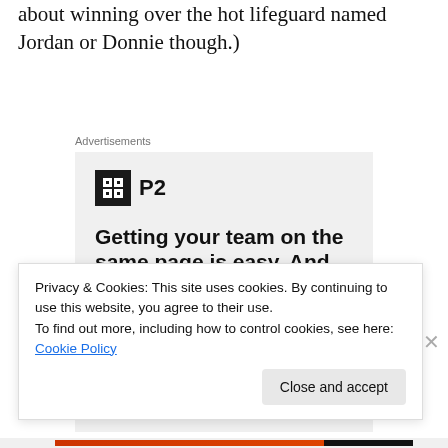about winning over the hot lifeguard named Jordan or Donnie though.)
Advertisements
[Figure (infographic): P2 advertisement with logo, headline 'Getting your team on the same page is easy. And free.' and three profile photo avatars plus a blue plus button]
Privacy & Cookies: This site uses cookies. By continuing to use this website, you agree to their use.
To find out more, including how to control cookies, see here: Cookie Policy
Close and accept